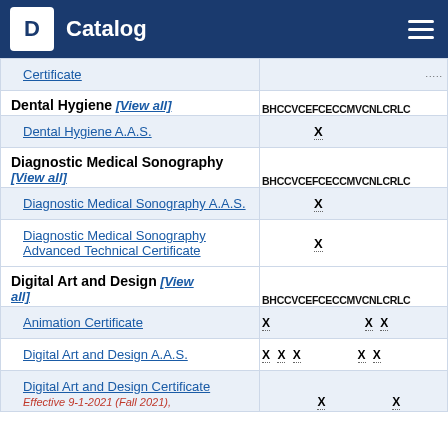Catalog
| Program | BHCCVCEFCECCMVCNLCRLC |
| --- | --- |
| Certificate |  |
| Dental Hygiene [View all] | BHCCVCEFCECCMVCNLCRLC |
| Dental Hygiene A.A.S. | X (EF column) |
| Diagnostic Medical Sonography [View all] | BHCCVCEFCECCMVCNLCRLC |
| Diagnostic Medical Sonography A.A.S. | X (EF column) |
| Diagnostic Medical Sonography Advanced Technical Certificate | X (EF column) |
| Digital Art and Design [View all] | BHCCVCEFCECCMVCNLCRLC |
| Animation Certificate | X (BH), X (LC), X (RL) |
| Digital Art and Design A.A.S. | X (BH), X (CC), X (VC), X (LC), X (RL) |
| Digital Art and Design Certificate | X (EF), X (LC); Effective 9-1-2021 (Fall 2021), |